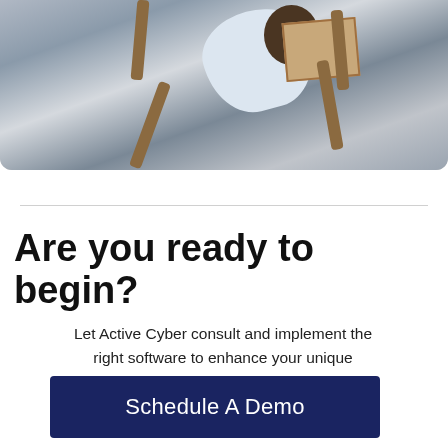[Figure (photo): Overhead view of a person in a light blue shirt sitting in a wooden chair, apparently handling a cardboard box, photographed from above on a light grey floor.]
Are you ready to begin?
Let Active Cyber consult and implement the right software to enhance your unique business.
Schedule A Demo